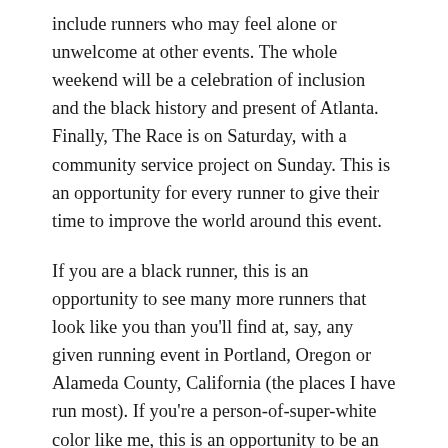include runners who may feel alone or unwelcome at other events. The whole weekend will be a celebration of inclusion and the black history and present of Atlanta. Finally, The Race is on Saturday, with a community service project on Sunday. This is an opportunity for every runner to give their time to improve the world around this event.
If you are a black runner, this is an opportunity to see many more runners that look like you than you'll find at, say, any given running event in Portland, Oregon or Alameda County, California (the places I have run most). If you're a person-of-super-white color like me, this is an opportunity to be an ally and help a black community event be successful and thrive. Look, I do as much foot-in-mouth-hey-I'm-TRYING as the next white girl who grew up in the suburbs. Here's a chance to listen, learn, and help create a legacy race for black Atlanta.